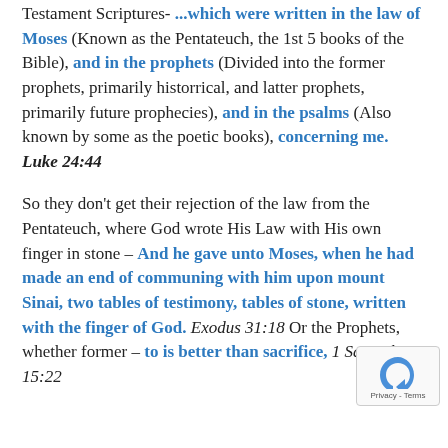Testament Scriptures- ...which were written in the law of Moses (Known as the Pentateuch, the 1st 5 books of the Bible), and in the prophets (Divided into the former prophets, primarily historrical, and latter prophets, primarily future prophecies), and in the psalms (Also known by some as the poetic books), concerning me. Luke 24:44
So they don't get their rejection of the law from the Pentateuch, where God wrote His Law with His own finger in stone – And he gave unto Moses, when he had made an end of communing with him upon mount Sinai, two tables of testimony, tables of stone, written with the finger of God. Exodus 31:18 Or the Prophets, whether former – to is better than sacrifice, 1 Samuel 15:22